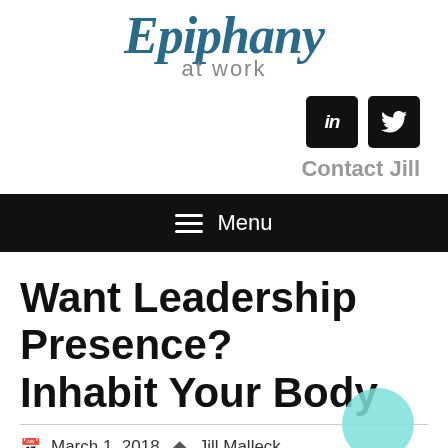[Figure (logo): Epiphany at work logo in blue cursive script with 'at work' in grey sans-serif below]
[Figure (infographic): LinkedIn and Twitter social media icons as black rounded square buttons]
Contact Jill
Menu
Want Leadership Presence? Inhabit Your Body
March 1, 2018  Jill Malleck